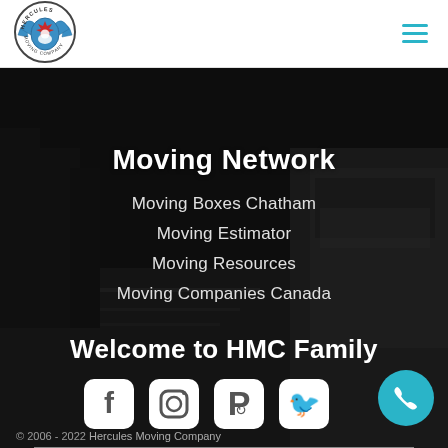[Figure (logo): Hercules Moving Company circular logo with wings and maple leaf]
[Figure (other): Hamburger menu icon (three horizontal teal lines)]
[Figure (photo): Dark urban street scene background with a moving truck on the right side]
Moving Network
Moving Boxes Chatham
Moving Estimator
Moving Resources
Moving Companies Canada
Welcome to HMC Family
[Figure (infographic): Social media icons: Facebook, Instagram, Pinterest, Twitter in white rounded square style]
© 2006 - 2022 Hercules Moving Company